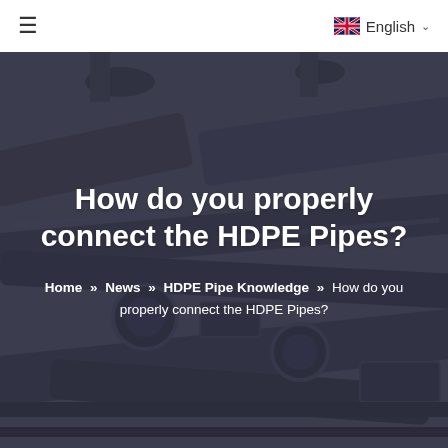≡   English ∨
[Figure (photo): Industrial HDPE pipes and machinery photographed from above, with a dark blue-grey overlay, showing pipe fittings and mechanical equipment]
How do you properly connect the HDPE Pipes?
Home » News » HDPE Pipe Knowledge » How do you properly connect the HDPE Pipes?